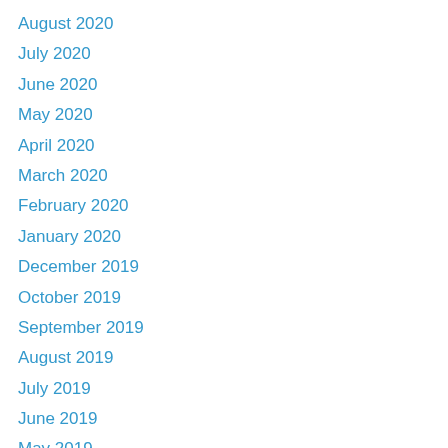August 2020
July 2020
June 2020
May 2020
April 2020
March 2020
February 2020
January 2020
December 2019
October 2019
September 2019
August 2019
July 2019
June 2019
May 2019
April 2019
February 2019
January 2019
December 2018
August 2018